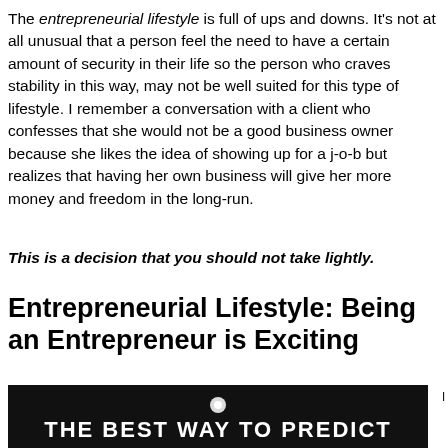The entrepreneurial lifestyle is full of ups and downs. It's not at all unusual that a person feel the need to have a certain amount of security in their life so the person who craves stability in this way, may not be well suited for this type of lifestyle. I remember a conversation with a client who confesses that she would not be a good business owner because she likes the idea of showing up for a j-o-b but realizes that having her own business will give her more money and freedom in the long-run.
This is a decision that you should not take lightly.
Entrepreneurial Lifestyle: Being an Entrepreneur is Exciting
[Figure (photo): Dark/black background image with white bold text reading 'THE BEST WAY TO PREDICT']